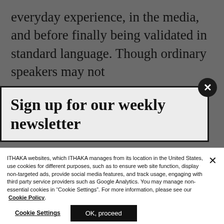everyday experience, in the media, and before finally being validated in standard language. Though ordinary speakers may not have as much linguistic authority as a record of the words added to the dictionary, there is a convincing authenticity as part of a collective
Sign up for our weekly newsletter
ITHAKA websites, which ITHAKA manages from its location in the United States, use cookies for different purposes, such as to ensure web site function, display non-targeted ads, provide social media features, and track usage, engaging with third party service providers such as Google Analytics. You may manage non-essential cookies in “Cookie Settings”. For more information, please see our Cookie Policy.
Cookie Settings
OK, proceed